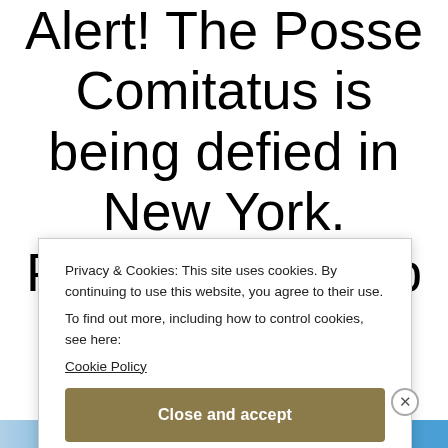Alert! The Posse Comitatus is being defied in New York. President Trump MUST ACT to stop it. If this is NOT authorized and sanctioned by the US government, then it's a full
Privacy & Cookies: This site uses cookies. By continuing to use this website, you agree to their use.
To find out more, including how to control cookies, see here: Cookie Policy
Close and accept